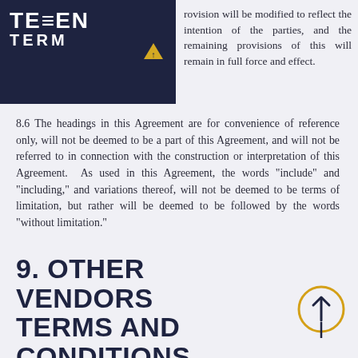TEEN — provision will be modified to reflect the intention of the parties, and the remaining provisions of this Agreement will remain in full force and effect.
8.6 The headings in this Agreement are for convenience of reference only, will not be deemed to be a part of this Agreement, and will not be referred to in connection with the construction or interpretation of this Agreement. As used in this Agreement, the words “include” and “including,” and variations thereof, will not be deemed to be terms of limitation, but rather will be deemed to be followed by the words “without limitation.”
9. OTHER VENDORS TERMS AND CONDITIONS